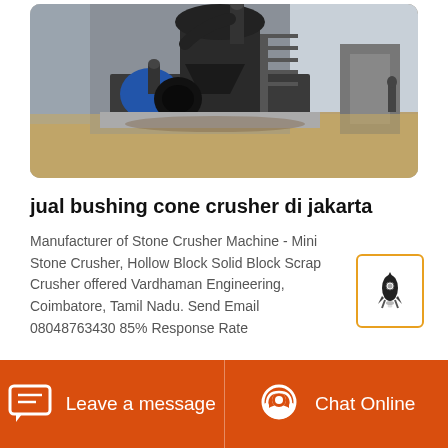[Figure (photo): Industrial stone crusher machine / cone crusher equipment in an outdoor factory setting. Large black machinery with pipes and stairs, blue motor visible, sandy ground, grey building in background.]
jual bushing cone crusher di jakarta
Manufacturer of Stone Crusher Machine - Mini Stone Crusher, Hollow Block Solid Block Scrap Crusher offered Vardhaman Engineering, Coimbatore, Tamil Nadu. Send Email 08048763430 85% Response Rate
More Details
Leave a message   Chat Online